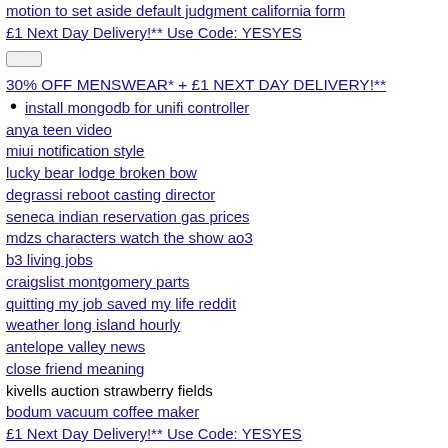motion to set aside default judgment california form
£1 Next Day Delivery!** Use Code: YESYES
[button]
30% OFF MENSWEAR* + £1 NEXT DAY DELIVERY!**
install mongodb for unifi controller
anya teen video
miui notification style
lucky bear lodge broken bow
degrassi reboot casting director
seneca indian reservation gas prices
mdzs characters watch the show ao3
b3 living jobs
craigslist montgomery parts
quitting my job saved my life reddit
weather long island hourly
antelope valley news
close friend meaning
kivells auction strawberry fields
bodum vacuum coffee maker
£1 Next Day Delivery!** Use Code: YESYES
[button]
30% OFF MENSWEAR* + £1 NEXT DAY DELIVERY!**
what are examples of fringe benefits
former 911 operator found guilty
View All